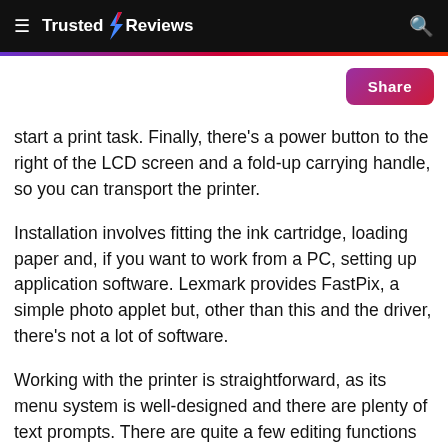Trusted Reviews
start a print task. Finally, there's a power button to the right of the LCD screen and a fold-up carrying handle, so you can transport the printer.
Installation involves fitting the ink cartridge, loading paper and, if you want to work from a PC, setting up application software. Lexmark provides FastPix, a simple photo applet but, other than this and the driver, there's not a lot of software.
Working with the printer is straightforward, as its menu system is well-designed and there are plenty of text prompts. There are quite a few editing functions that can be called up from within the printer and these include five